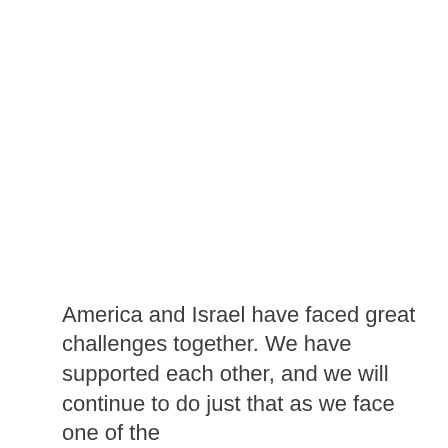America and Israel have faced great challenges together. We have supported each other, and we will continue to do just that as we face one of the